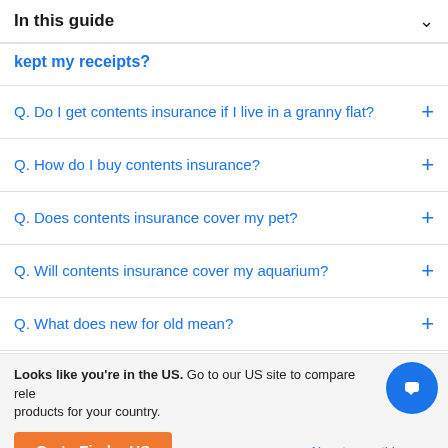In this guide
kept my receipts?
Q. Do I get contents insurance if I live in a granny flat?
Q. How do I buy contents insurance?
Q. Does contents insurance cover my pet?
Q. Will contents insurance cover my aquarium?
Q. What does new for old mean?
Looks like you're in the US. Go to our US site to compare relevant products for your country.
Go to Finder US
No, stay on this page